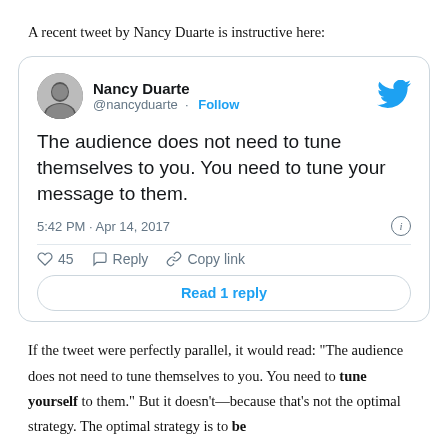A recent tweet by Nancy Duarte is instructive here:
[Figure (screenshot): Embedded tweet by Nancy Duarte (@nancyduarte) with Follow button and Twitter bird logo. Tweet text: 'The audience does not need to tune themselves to you. You need to tune your message to them.' Time: 5:42 PM · Apr 14, 2017. Likes: 45. Actions: Reply, Copy link. Button: Read 1 reply.]
If the tweet were perfectly parallel, it would read: "The audience does not need to tune themselves to you. You need to tune yourself to them." But it doesn't—because that's not the optimal strategy. The optimal strategy is to be